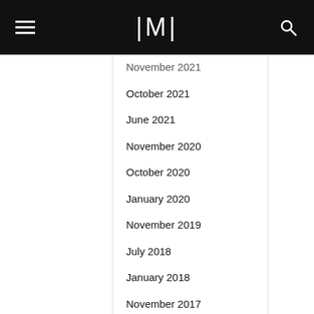IMI (logo with hamburger menu and search icon)
November 2021
October 2021
June 2021
November 2020
October 2020
January 2020
November 2019
July 2018
January 2018
November 2017
October 2017
September 2017
August 2017